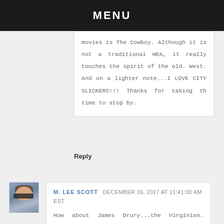MENU
movies is The Cowboy. Although it is not a traditional HEA, it really touches the spirit of the old. West. And on a lighter note...I LOVE CITY SLICKERS!!! Thanks for taking th time to stop by.
Reply
M. LEE SCOTT DECEMBER 16, 2017 AT 11:41:00 AM EST
How about James Drury...the Virginian. Hoosh!